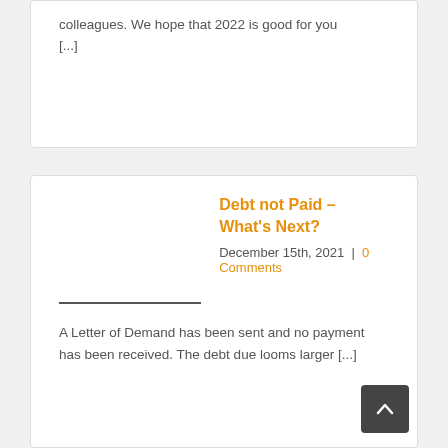colleagues. We hope that 2022 is good for you [...]
Debt not Paid – What's Next?
December 15th, 2021  |  0 Comments
A Letter of Demand has been sent and no payment has been received. The debt due looms larger [...]